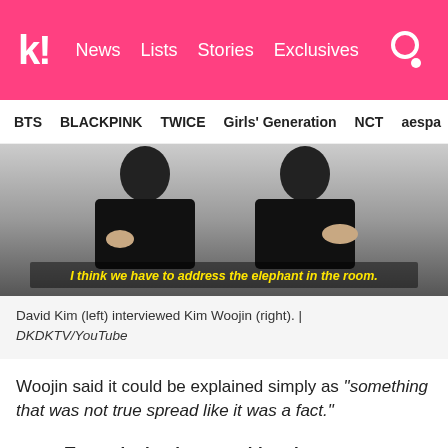k! News  Lists  Stories  Exclusives
BTS  BLACKPINK  TWICE  Girls' Generation  NCT  aespa
[Figure (screenshot): Video screenshot showing two people seated on chairs with subtitle text: 'I think we have to address the elephant in the room.']
David Kim (left) interviewed Kim Woojin (right). | DKDKTV/YouTube
Woojin said it could be explained simply as "something that was not true spread like it was a fact."
To put it simply, something that was not true spread like it was a fact. Because of that, I had a very rough